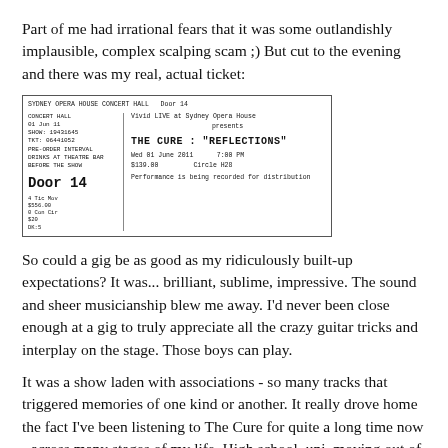Part of me had irrational fears that it was some outlandishly implausible, complex scalping scam ;) But cut to the evening and there was my real, actual ticket:
[Figure (photo): Concert ticket for The Cure: Reflections at Sydney Opera House Concert Hall, Door 14, Wed 01 June 2011, 7:00 PM, $139.00, Circle H28]
So could a gig be as good as my ridiculously built-up expectations? It was... brilliant, sublime, impressive. The sound and sheer musicianship blew me away. I'd never been close enough at a gig to truly appreciate all the crazy guitar tricks and interplay on the stage. Those boys can play.
It was a show laden with associations - so many tracks that triggered memories of one kind or another. It really drove home the fact I've been listening to The Cure for quite a long time now - across many stages of my life. High school, uni, moving out of home, moving our lives to a new city... throughout it all I've listened to The Cure. Perhaps this is